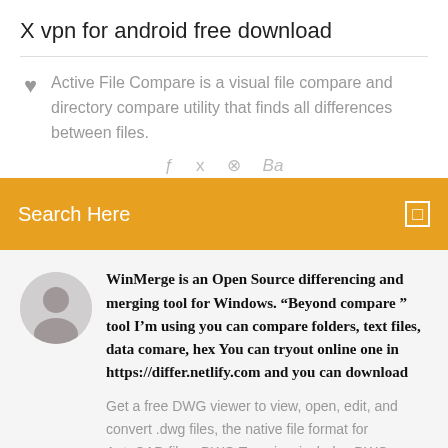X vpn for android free download
Active File Compare is a visual file compare and directory compare utility that finds all differences between files.
[Figure (other): Orange search bar with 'Search Here' label and search icon on the right]
WinMerge is an Open Source differencing and merging tool for Windows. “Beyond compare ” tool I’m using you can compare folders, text files, data comare, hex You can tryout online one in https://differ.netlify.com and you can download
Get a free DWG viewer to view, open, edit, and convert .dwg files, the native file format for AutoCAD files. DWG Trueview includes DWG TrueConvert.